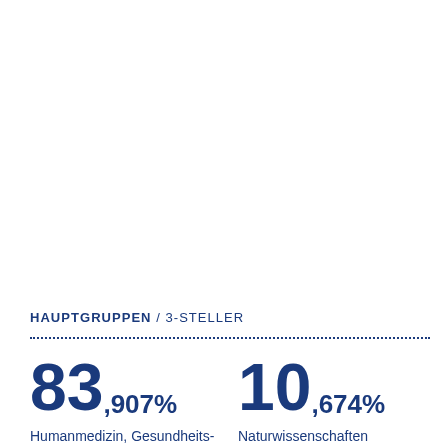HAUPTGRUPPEN / 3-STELLER
83,907%
Humanmedizin, Gesundheits-
10,674%
Naturwissenschaften